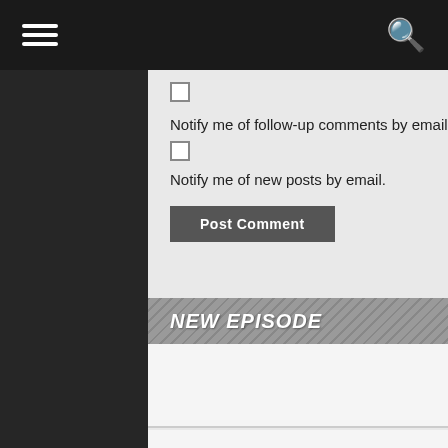Navigation bar with hamburger menu and search icon
Notify me of follow-up comments by email.
Notify me of new posts by email.
Post Comment
NEW EPISODE
[Figure (other): Empty white content box below NEW EPISODE section header]
[Figure (other): Empty white content box at bottom of page]